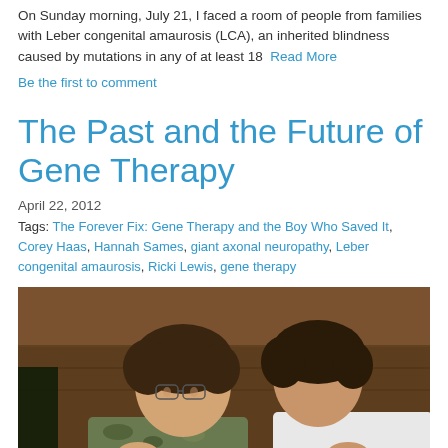On Sunday morning, July 21, I faced a room of people from families with Leber congenital amaurosis (LCA), an inherited blindness caused by mutations in any of at least 18  Read More
Be the first to comment
The Past and the Future of Gene Therapy
April 22, 2012
Tags: The Forever Fix: Gene Therapy and the Boy Who Saved It, Corey Haas, Hannah Sames, giant axonal neuropathy, Leber congenital amaurosis, Ricki Lewis, gene therapy
[Figure (photo): Two children sitting side by side, bent over a surface, writing or drawing. Both have dark brown hair. The child on the left wears glasses and a camouflage patterned shirt. The child on the right wears a white shirt. They appear to be at a table with a wooden background.]